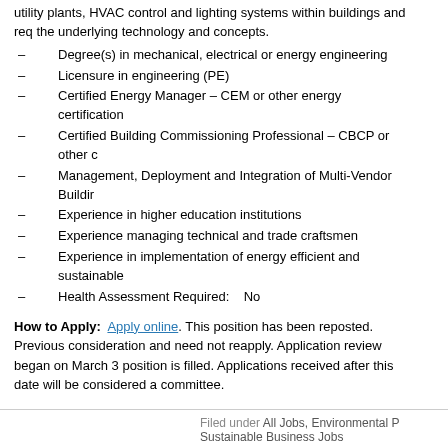utility plants, HVAC control and lighting systems within buildings and req the underlying technology and concepts.
Degree(s) in mechanical, electrical or energy engineering
Licensure in engineering (PE)
Certified Energy Manager – CEM or other energy certification
Certified Building Commissioning Professional – CBCP or other c
Management, Deployment and Integration of Multi-Vendor Buildir
Experience in higher education institutions
Experience managing technical and trade craftsmen
Experience in implementation of energy efficient and sustainable
Health Assessment Required:    No
How to Apply: Apply online. This position has been reposted. Previous consideration and need not reapply. Application review began on March 3 position is filled. Applications received after this date will be considered a committee.
Filed under All Jobs, Environmental P Sustainable Business Jobs